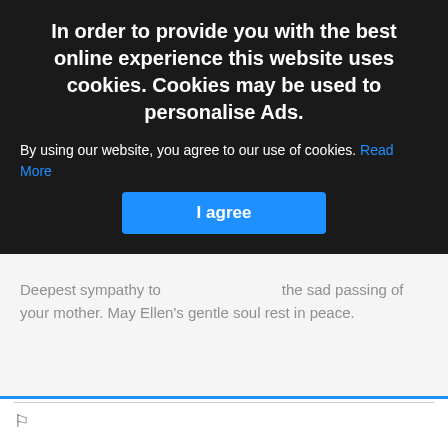In order to provide you with the best online experience this website uses cookies. Cookies may be used to personalise Ads.
By using our website, you agree to our use of cookies. Read More
I agree
Deepest sympathy to [obscured] the sad passing of your mother. May Ellen's gentle soul rest in peace.
John Collins & Sandra Courell Castlebar© 6 months 21 days
Deepest sympathy to the Fadian family on the sad passing of Ellen. May she rest in peace.